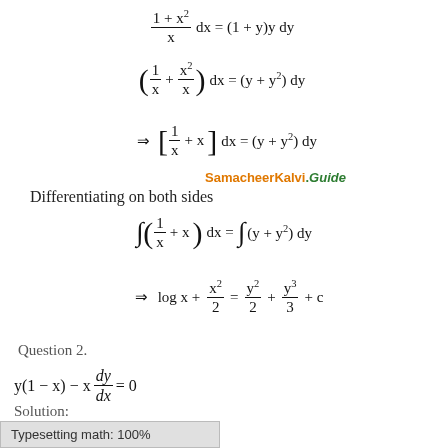SamacheerKalvi.Guide
Differentiating on both sides
Question 2.
Solution:
Typesetting math: 100%